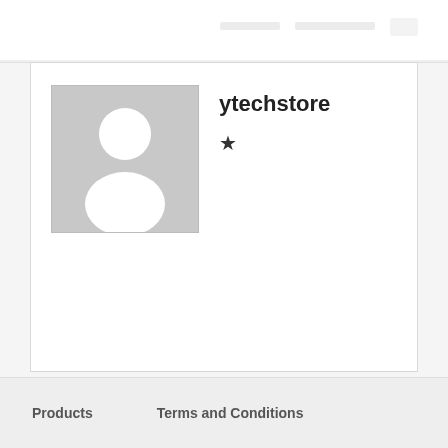[Figure (illustration): User profile page showing a gray placeholder avatar image with a white person silhouette, the username 'ytechstore', and a star icon below the name.]
ytechstore
★
Products    Terms and Conditions